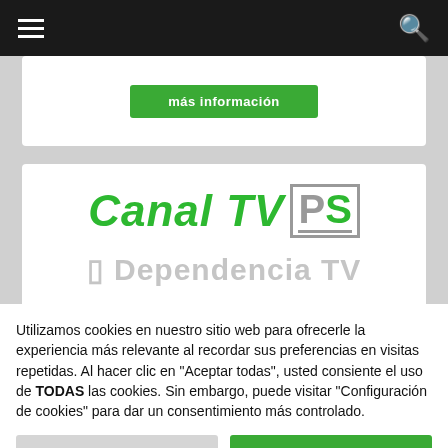[Figure (screenshot): Black navigation bar with hamburger menu icon on left and search icon on right]
[Figure (screenshot): Partially visible green 'más información' button on white card]
[Figure (logo): Canal TV PS logo in green italic text with PS letters in grey border box]
[Figure (screenshot): Partially visible grey text reading 'Dependencia TV']
Utilizamos cookies en nuestro sitio web para ofrecerle la experiencia más relevante al recordar sus preferencias en visitas repetidas. Al hacer clic en "Aceptar todas", usted consiente el uso de TODAS las cookies. Sin embargo, puede visitar "Configuración de cookies" para dar un consentimiento más controlado.
Configuración de cookies
Aceptar todas
Cambiar Idioma »